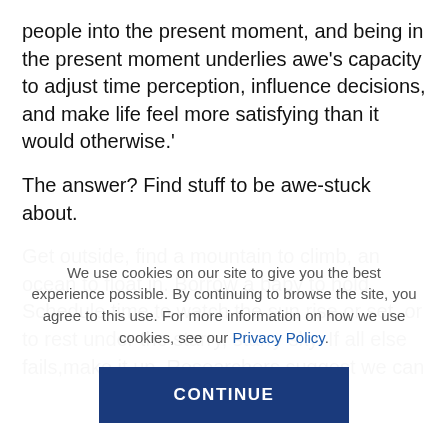people into the present moment, and being in the present moment underlies awe's capacity to adjust time perception, influence decisions, and make life feel more satisfying than it would otherwise.'
The answer? Find stuff to be awe-stuck about.
Get outside, find a mountain to climb, an ocean to float in. Borrow a baby to hold. Schedule time to watch the sun rise or set, or to rest under the starry, starry sky. If all else fails,make it up. Researchers suggest we can
We use cookies on our site to give you the best experience possible. By continuing to browse the site, you agree to this use. For more information on how we use cookies, see our Privacy Policy.
CONTINUE